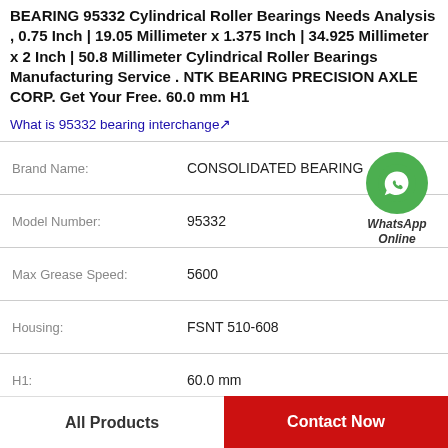BEARING 95332 Cylindrical Roller Bearings Needs Analysis , 0.75 Inch | 19.05 Millimeter x 1.375 Inch | 34.925 Millimeter x 2 Inch | 50.8 Millimeter Cylindrical Roller Bearings Manufacturing Service . NTK BEARING PRECISION AXLE CORP. Get Your Free. 60.0 mm H1
What is 95332 bearing interchange↗
| Field | Value |
| --- | --- |
| Brand Name: | CONSOLIDATED BEARING |
| Model Number: | 95332 |
| Max Grease Speed: | 5600 |
| Housing: | FSNT 510-608 |
| H1: | 60.0 mm |
| G: | M12 |
All Products
Contact Now